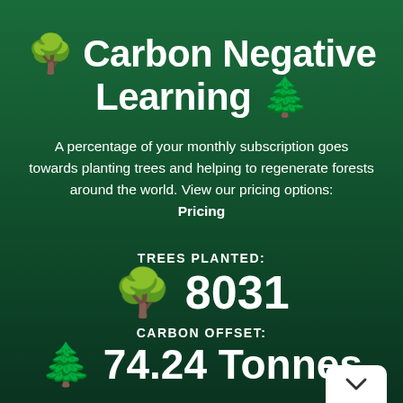🌳 Carbon Negative Learning 🌲
A percentage of your monthly subscription goes towards planting trees and helping to regenerate forests around the world. View our pricing options: Pricing
TREES PLANTED:
🌳 8031
CARBON OFFSET:
🌲 74.24 Tonnes